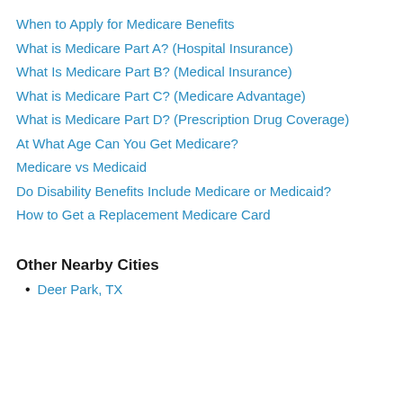When to Apply for Medicare Benefits
What is Medicare Part A? (Hospital Insurance)
What Is Medicare Part B? (Medical Insurance)
What is Medicare Part C? (Medicare Advantage)
What is Medicare Part D? (Prescription Drug Coverage)
At What Age Can You Get Medicare?
Medicare vs Medicaid
Do Disability Benefits Include Medicare or Medicaid?
How to Get a Replacement Medicare Card
Other Nearby Cities
Deer Park, TX